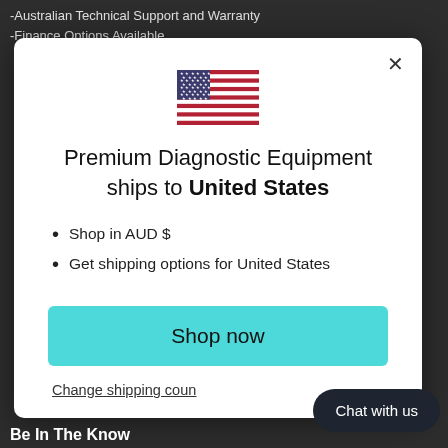-Australian Technical Support and Warranty
-Finance Options Available
[Figure (screenshot): Modal dialog with US flag, shipping options text, Shop now button, and Change shipping country link]
Premium Diagnostic Equipment ships to United States
Shop in AUD $
Get shipping options for United States
Shop now
Change shipping coun
Chat with us
Be In The Know